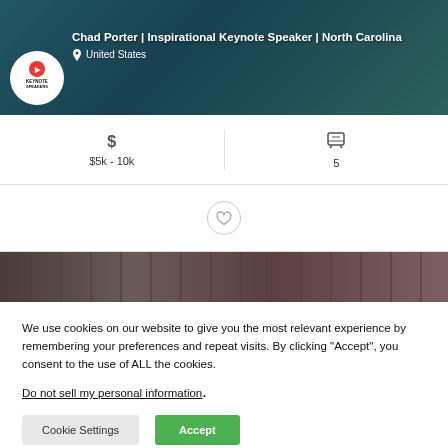[Figure (photo): Hero image of Chad Porter in a teal blazer with a Keynote Speakers logo, overlaid with name and location text]
Chad Porter | Inspirational Keynote Speaker | North Carolina
United States
$5k - 10k
5
[Figure (photo): Second speaker profile image strip (dark tones, architectural background)]
We use cookies on our website to give you the most relevant experience by remembering your preferences and repeat visits. By clicking “Accept”, you consent to the use of ALL the cookies.
Do not sell my personal information.
Cookie Settings
Accept